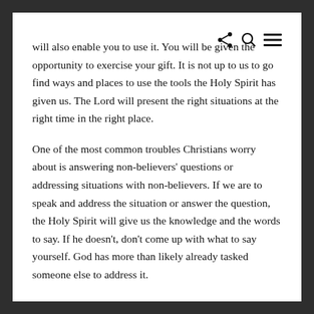will also enable you to use it. You will be given the opportunity to exercise your gift. It is not up to us to go find ways and places to use the tools the Holy Spirit has given us. The Lord will present the right situations at the right time in the right place.
One of the most common troubles Christians worry about is answering non-believers' questions or addressing situations with non-believers. If we are to speak and address the situation or answer the question, the Holy Spirit will give us the knowledge and the words to say. If he doesn't, don't come up with what to say yourself. God has more than likely already tasked someone else to address it.
Having the knowledge to answer and speak when God asks us to is directly addressed in Mark 13:10-11.